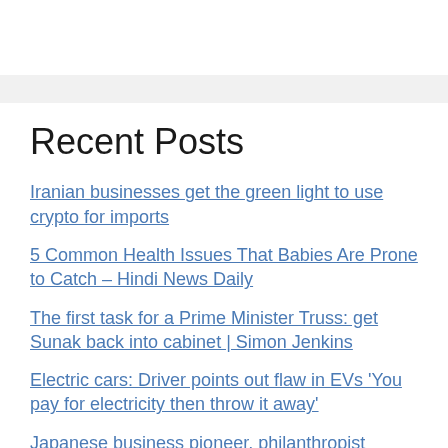Recent Posts
Iranian businesses get the green light to use crypto for imports
5 Common Health Issues That Babies Are Prone to Catch – Hindi News Daily
The first task for a Prime Minister Truss: get Sunak back into cabinet | Simon Jenkins
Electric cars: Driver points out flaw in EVs 'You pay for electricity then throw it away'
Japanese business pioneer, philanthropist Inamori dies at 90